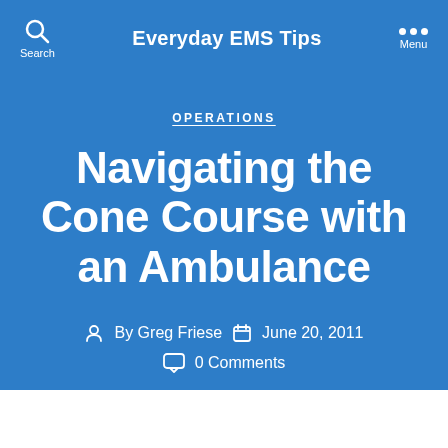Everyday EMS Tips
OPERATIONS
Navigating the Cone Course with an Ambulance
By Greg Friese  June 20, 2011  0 Comments